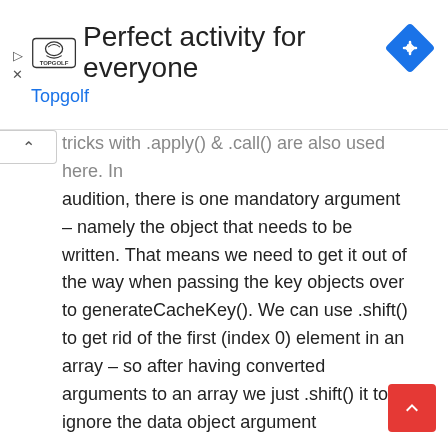[Figure (screenshot): Topgolf advertisement banner with logo and text 'Perfect activity for everyone / Topgolf', plus a blue navigation diamond icon in top-right]
tricks with .apply() & .call() are also used here. In addition, there is one mandatory argument – namely the object that needs to be written. That means we need to get it out of the way when passing the key objects over to generateCacheKey(). We can use .shift() to get rid of the first (index 0) element in an array – so after having converted arguments to an array we just .shift() it to ignore the data object argument
* cCacheHandler.putCache()
* @param {object} ob data to put to cache
* @param {object,...} queryOb some objects/t
from which to generate a key.